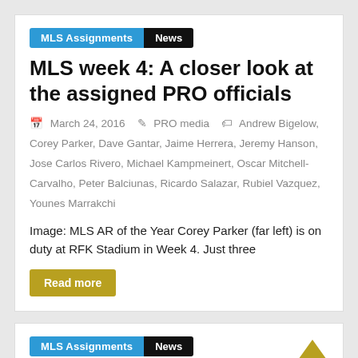MLS Assignments | News
MLS week 4: A closer look at the assigned PRO officials
March 24, 2016 · PRO media · Andrew Bigelow, Corey Parker, Dave Gantar, Jaime Herrera, Jeremy Hanson, Jose Carlos Rivero, Michael Kampmeinert, Oscar Mitchell-Carvalho, Peter Balciunas, Ricardo Salazar, Rubiel Vazquez, Younes Marrakchi
Image: MLS AR of the Year Corey Parker (far left) is on duty at RFK Stadium in Week 4. Just three
Read more
MLS Assignments | News
MLS week 3: A closer look at the